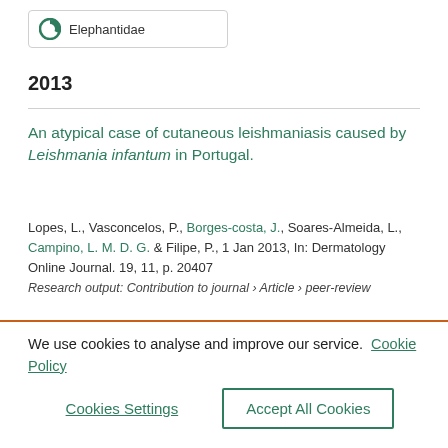[Figure (logo): Elephantidae logo with circular green icon and text]
2013
An atypical case of cutaneous leishmaniasis caused by Leishmania infantum in Portugal.
Lopes, L., Vasconcelos, P., Borges-costa, J., Soares-Almeida, L., Campino, L. M. D. G. & Filipe, P., 1 Jan 2013, In: Dermatology Online Journal. 19, 11, p. 20407
Research output: Contribution to journal › Article › peer-review
We use cookies to analyse and improve our service. Cookie Policy
Cookies Settings
Accept All Cookies